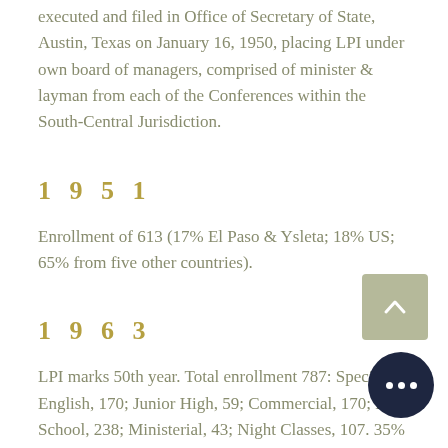executed and filed in Office of Secretary of State, Austin, Texas on January 16, 1950, placing LPI under own board of managers, comprised of minister & layman from each of the Conferences within the South-Central Jurisdiction.
1951
Enrollment of 613 (17% El Paso & Ysleta; 18% US; 65% from five other countries).
1963
LPI marks 50th year. Total enrollment 787: Special English, 170; Junior High, 59; Commercial, 170; High School, 238; Ministerial, 43; Night Classes, 107. 35% of graduates attend colleges or universi...
1964